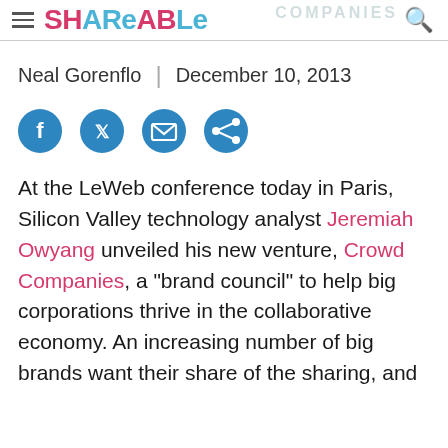Shareable | Crowd Companies
Neal Gorenflo  |  December 10, 2013
[Figure (infographic): Social share buttons: Facebook, Twitter, Email, Share icons in blue circles]
At the LeWeb conference today in Paris, Silicon Valley technology analyst Jeremiah Owyang unveiled his new venture, Crowd Companies, a "brand council" to help big corporations thrive in the collaborative economy. An increasing number of big brands want their share of the sharing, and